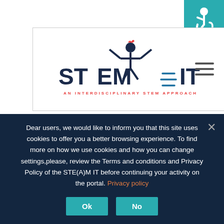[Figure (logo): STEAM IT logo - An Interdisciplinary STEM Approach, with figure icon and decorative lines]
[Figure (other): Accessibility (wheelchair) icon in teal square, top right corner]
[Figure (other): Hamburger menu icon (three horizontal lines)]
Graphene – miraculous 21st Century Material
In this lesson, students will learn about the chemical and physical
Dear users, we would like to inform you that this site uses cookies to offer you a better browsing experience. To find more on how we use cookies and how you can change settings,please, review the Terms and conditions and Privacy Policy of the STE(A)M IT before continuing your activity on the portal. Privacy policy
Ok
No